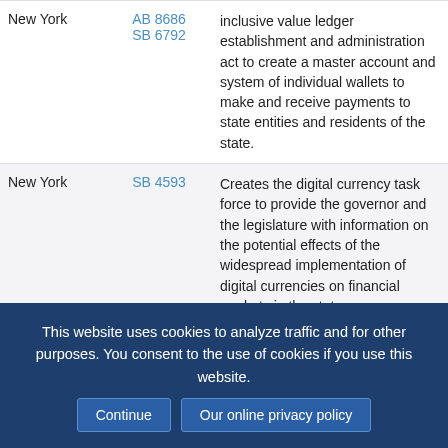| State | Bill | Description |
| --- | --- | --- |
| New York | AB 8686
SB 6792 | inclusive value ledger establishment and administration act to create a master account and system of individual wallets to make and receive payments to state entities and residents of the state. |
| New York | SB 4593 | Creates the digital currency task force to provide the governor and the legislature with information on the potential effects of the widespread implementation of digital currencies on financial markets in the state. |
|  |  | Relates to the exemption of an |
This website uses cookies to analyze traffic and for other purposes. You consent to the use of cookies if you use this website.